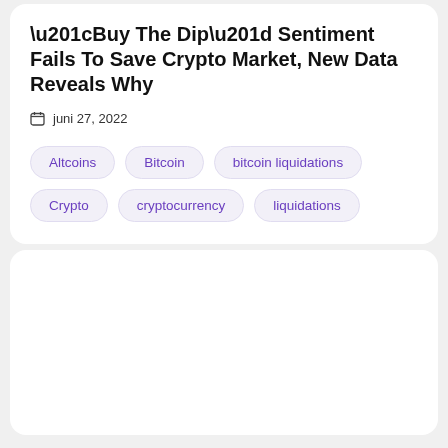“Buy The Dip” Sentiment Fails To Save Crypto Market, New Data Reveals Why
juni 27, 2022
Altcoins
Bitcoin
bitcoin liquidations
Crypto
cryptocurrency
liquidations
[Figure (other): Empty white card/placeholder block at the bottom of the page]